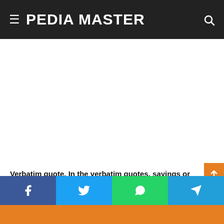≡ PEDIA MASTER 🔍
[Figure (other): Advertisement/blank white area]
Verbatim quote. In the verbatim quotes, sayings or texts of an author are used, transcribing the quote with the greatest possible fidelity, starting with a capital letter and a quotation mark, and in case the text is very long or thi...
Share buttons: Facebook, Twitter, WhatsApp, Telegram